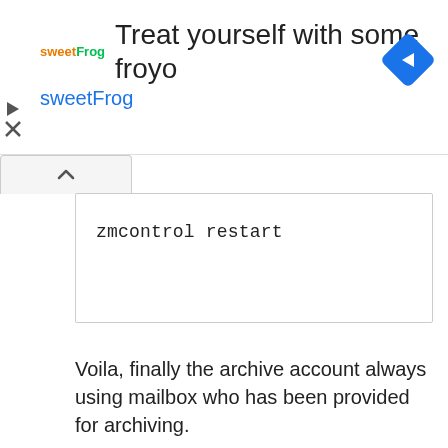[Figure (screenshot): SweetFrog advertisement banner with logo, text 'Treat yourself with some froyo sweetFrog', and navigation arrow icon]
[Figure (screenshot): Collapse/chevron-up button bar]
zmcontrol restart
Voila, finally the archive account always using mailbox who has been provided for archiving.
Good luck and hopefully useful 😀